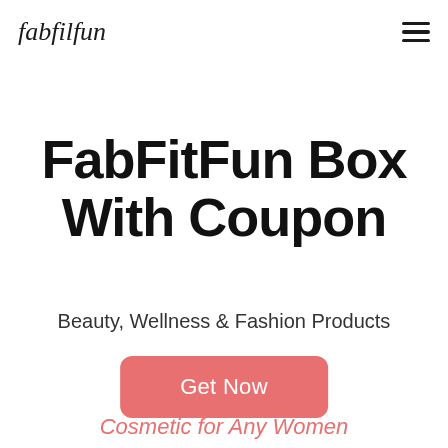fabfilfun
FabFitFun Box With Coupon
Beauty, Wellness & Fashion Products
Get Now
Cosmetic for Any Women